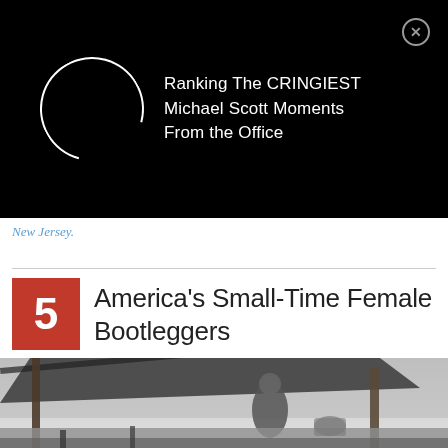[Figure (screenshot): Black advertisement banner with a circular spinner icon and text 'Ranking The CRINGIEST Michael Scott Moments From the Office', with a close button (X) in the top right corner.]
New Jersey.
5 America's Small-Time Female Bootleggers
[Figure (photo): Black and white historical photograph of a person standing at an outdoor bootlegging still site under a wooden lean-to structure, surrounded by trees and equipment.]